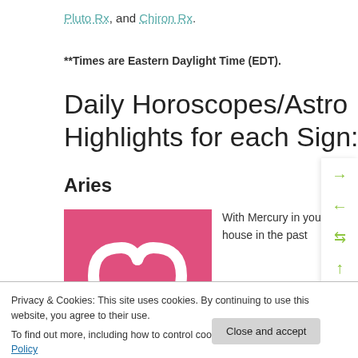Pluto Rx, and Chiron Rx.
**Times are Eastern Daylight Time (EDT).
Daily Horoscopes/Astro Highlights for each Sign:
Aries
[Figure (illustration): Pink/magenta square image with white Aries ram horns symbol at bottom center]
With Mercury in your solar sixth house in the past
Privacy & Cookies: This site uses cookies. By continuing to use this website, you agree to their use.
To find out more, including how to control cookies, see here: Cookie Policy
Close and accept
details of your everyday life